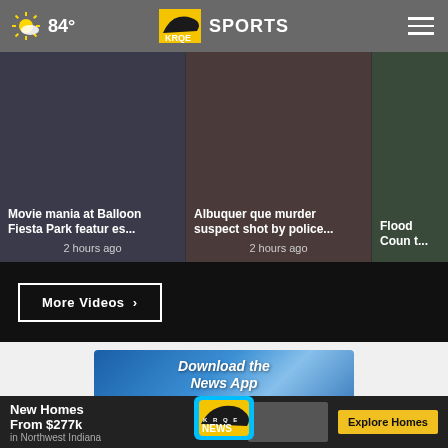84° KRQE SPORTS
[Figure (screenshot): Video thumbnails section with two visible stories: 'Movie mania at Balloon Fiesta Park features...' (2 hours ago) and 'Albuquerque murder suspect shot by police...' (2 hours ago), and partial third story 'Flood Count...']
More Videos ›
[Figure (screenshot): KRQE News app advertisement banner reading 'Download the News App' with KRQE NEWS logo on blue background]
New Homes From $277k in Northwest Indiana — Explore Homes